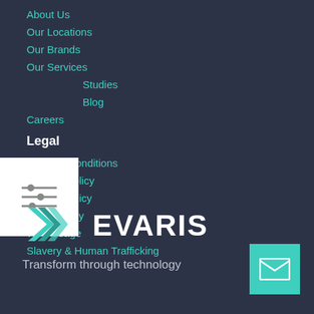About Us
Our Locations
Our Brands
Our Services
Studies
Blog
Careers
Legal
Terms & Conditions
Returns Policy
Privacy Policy
Accessibility
Web Usage
Slavery & Human Trafficking
[Figure (logo): Evaris logo with teal chevron/E symbol and EVARIS text, tagline: Transform through technology]
[Figure (other): Teal email/envelope icon button in bottom right corner]